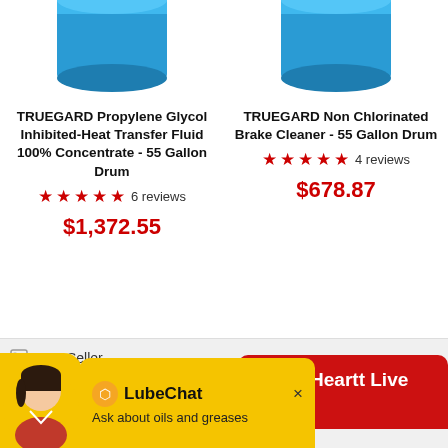[Figure (illustration): Blue cylindrical drum container (top portion visible, cropped at top), left product]
TRUEGARD Propylene Glycol Inhibited-Heat Transfer Fluid 100% Concentrate - 55 Gallon Drum
★★★★★ 6 reviews
$1,372.55
[Figure (illustration): Blue cylindrical drum container (top portion visible, cropped at top), right product]
TRUEGARD Non Chlorinated Brake Cleaner - 55 Gallon Drum
★★★★★ 4 reviews
$678.87
Best Seller
Keller Heartt Live Chat
LubeChat
Ask about oils and greases